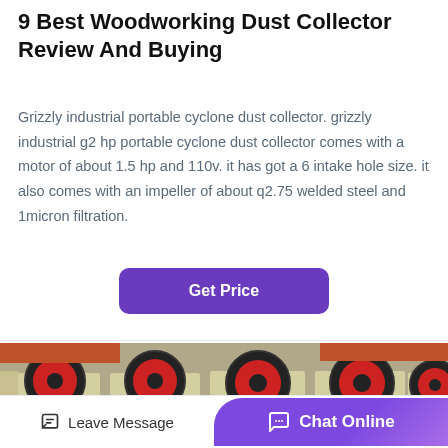9 Best Woodworking Dust Collector Review And Buying
Grizzly industrial portable cyclone dust collector. grizzly industrial g2 hp portable cyclone dust collector comes with a motor of about 1.5 hp and 110v. it has got a 6 intake hole size. it also comes with an impeller of about q2.75 welded steel and 1micron filtration.
[Figure (other): Purple rounded rectangle button with white bold text 'Get Price']
[Figure (photo): Industrial heavy machinery - multiple large jaw crusher machines with red and black flywheel discs on cream/beige colored frames, arranged in a row in a factory or industrial setting.]
Leave Message   Chat Online